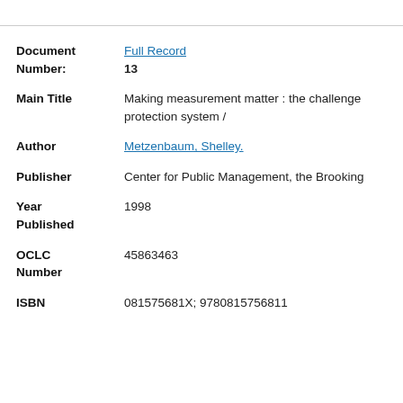| Field | Value |
| --- | --- |
| Document Number: | Full Record
13 |
| Main Title | Making measurement matter : the challenge
protection system / |
| Author | Metzenbaum, Shelley. |
| Publisher | Center for Public Management, the Brooking |
| Year Published | 1998 |
| OCLC Number | 45863463 |
| ISBN | 081575681X; 9780815756811 |